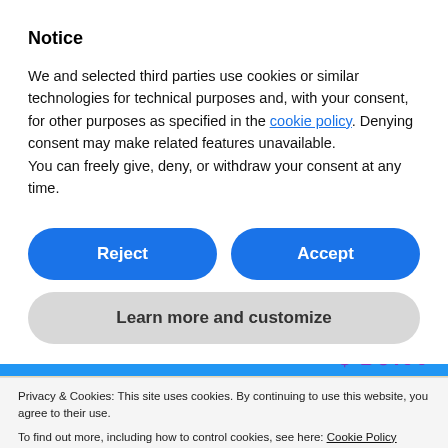Notice
We and selected third parties use cookies or similar technologies for technical purposes and, with your consent, for other purposes as specified in the cookie policy. Denying consent may make related features unavailable.
You can freely give, deny, or withdraw your consent at any time.
Reject
Accept
Learn more and customize
Privacy & Cookies: This site uses cookies. By continuing to use this website, you agree to their use.
To find out more, including how to control cookies, see here: Cookie Policy
Close and accept